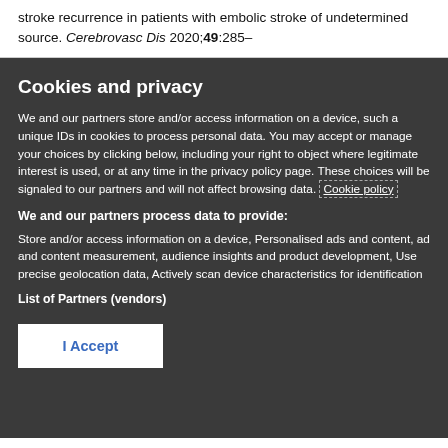stroke recurrence in patients with embolic stroke of undetermined source. Cerebrovasc Dis 2020;49:285–
Cookies and privacy
We and our partners store and/or access information on a device, such a unique IDs in cookies to process personal data. You may accept or manage your choices by clicking below, including your right to object where legitimate interest is used, or at any time in the privacy policy page. These choices will be signaled to our partners and will not affect browsing data. Cookie policy
We and our partners process data to provide:
Store and/or access information on a device, Personalised ads and content, ad and content measurement, audience insights and product development, Use precise geolocation data, Actively scan device characteristics for identification
List of Partners (vendors)
I Accept